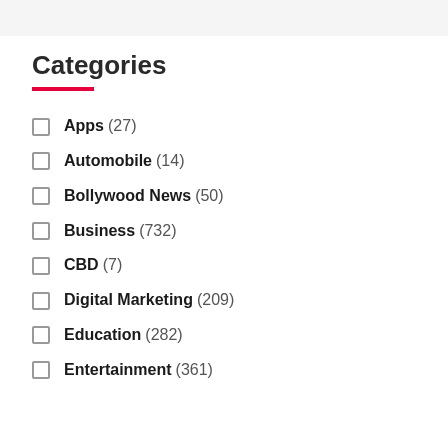Categories
Apps (27)
Automobile (14)
Bollywood News (50)
Business (732)
CBD (7)
Digital Marketing (209)
Education (282)
Entertainment (361)